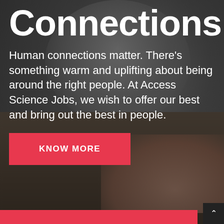[Figure (photo): Background photo of an older bearded man in a suit at a desk, with other people's hands visible, suggesting a business meeting or office environment. Dark overlay applied.]
Connections
Human connections matter. There's something warm and uplifting about being around the right people. At Access Science Jobs, we wish to offer our best and bring out the best in people.
KNOW MORE